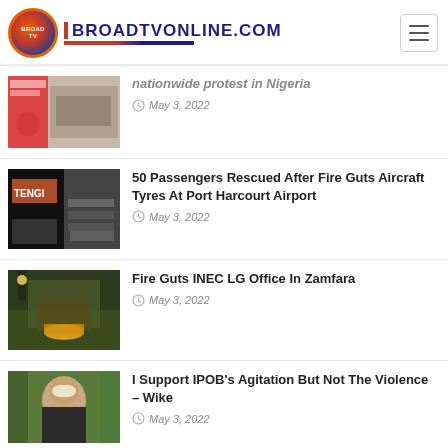BROADTVONLINE.COM
nationwide protest in Nigeria — May 3, 2022
50 Passengers Rescued After Fire Guts Aircraft Tyres At Port Harcourt Airport — May 3, 2022
Fire Guts INEC LG Office In Zamfara — May 3, 2022
I Support IPOB's Agitation But Not The Violence – Wike — May 3, 2022